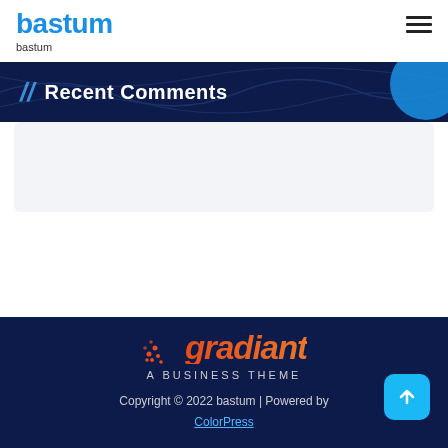bastum
bastum
Recent Comments
[Figure (logo): Gradiant - A Business Theme logo in red/orange italic text with dot-grid icon on dark navy background]
Copyright © 2022 bastum | Powered by ColorPress